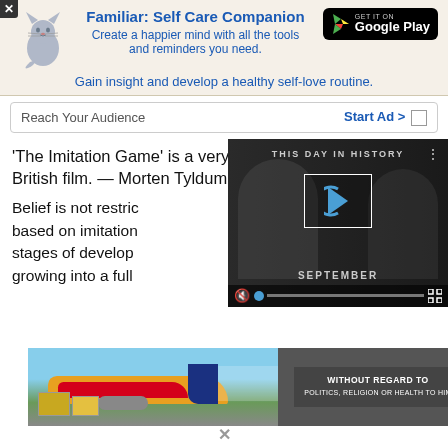[Figure (screenshot): Ad banner for 'Familiar: Self Care Companion' app with cat illustration and Google Play button]
[Figure (screenshot): Ad row: Reach Your Audience / Start Ad button]
'The Imitation Game' is a very British film. — Morten Tyldum
Belief is not restric... based on imitation... stages of develop... growing into a full...
[Figure (screenshot): Video overlay: THIS DAY IN HISTORY - SEPTEMBER video player with play button and controls]
[Figure (photo): Airplane on tarmac with cargo, alongside 'WITHOUT REGARD TO...' banner]